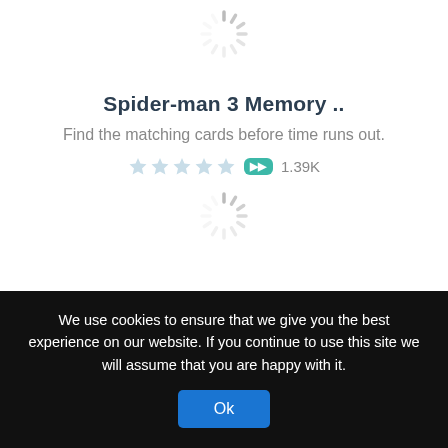[Figure (other): Loading spinner icon at top of page]
Spider-man 3 Memory ..
Find the matching cards before time runs out.
[Figure (other): 5 empty/light blue stars rating, gamepad icon, play count 1.39K]
[Figure (other): Loading spinner icon in middle of page]
We use cookies to ensure that we give you the best experience on our website. If you continue to use this site we will assume that you are happy with it.